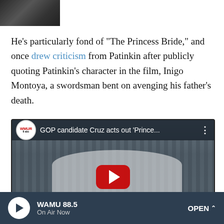[Figure (photo): Partial photo at top of page, appears to show people in a setting]
He's particularly fond of "The Princess Bride," and once drew criticism from Patinkin after publicly quoting Patinkin's character in the film, Inigo Montoya, a swordsman bent on avenging his father's death.
[Figure (screenshot): YouTube video embed showing WMUR9 video titled 'GOP candidate Cruz acts out Prince...' with a man in a white shirt at a diner, red play button overlay]
[Figure (other): WAMU 88.5 radio player bar at bottom: On Air Now, with play button and OPEN link]